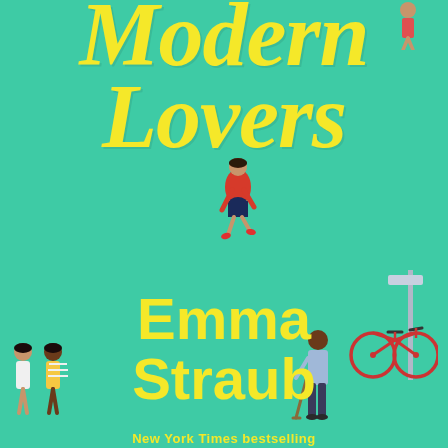[Figure (illustration): Book cover of 'Modern Lovers' by Emma Straub. Teal/mint green background with large yellow script title text 'Modern Lovers' at the top, author name 'Emma Straub' in bold yellow sans-serif below, illustrated figures of people walking, a bicycle leaning against a post, and partial figures at the bottom edges. Bottom text reads 'New York Times bestselling'.]
Modern Lovers
Emma Straub
New York Times bestselling